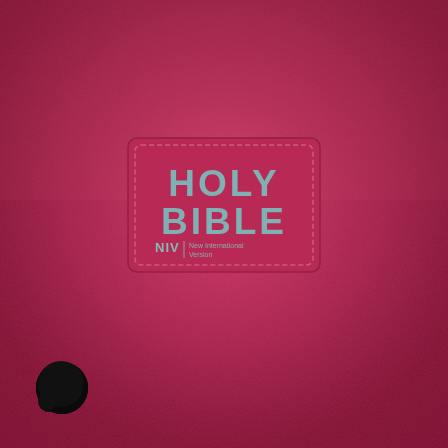[Figure (photo): Close-up photo of a pink/magenta fuzzy-textured Holy Bible cover with a rectangular patch label showing 'HOLY BIBLE' in teal/grey metallic letters and 'NIV | New International Version' text below. A black circular chat/comment icon is visible in the bottom-left corner.]